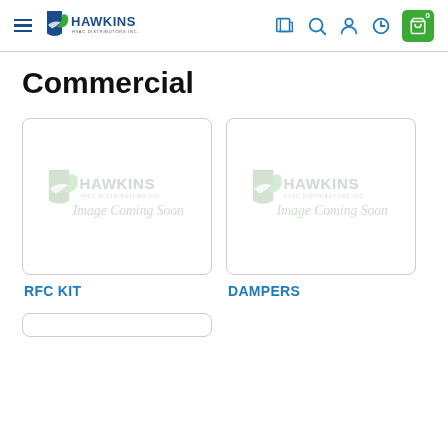Hawkins HVAC Distributors Inc. — Navigation header with logo, search, account, history, and cart icons
Commercial
[Figure (screenshot): Product card placeholder image with Hawkins 'Image Coming Soon' watermark logo — RFC KIT]
RFC KIT
[Figure (screenshot): Product card placeholder image with Hawkins 'Image Coming Soon' watermark logo — DAMPERS]
DAMPERS